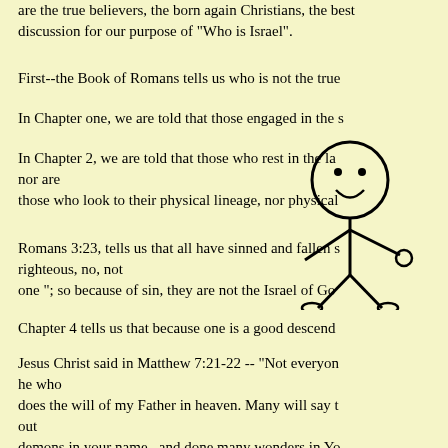are the true believers, the born again Christians, the best discussion for our purpose of "Who is Israel".
First--the Book of Romans tells us who is not the true
In Chapter one, we are told that those engaged in the s
In Chapter 2, we are told that those who rest in the la nor are those who look to their physical lineage, nor physical
[Figure (illustration): A simple stick figure drawing of a person with a smiley face, arms and legs, overlaid on the text]
Romans 3:23, tells us that all have sinned and fallen s righteous, no, not one "; so because of sin, they are not the Israel of Go
Chapter 4 tells us that because one is a good descend
Jesus Christ said in Matthew 7:21-22 -- "Not everyon he who does the will of my Father in heaven. Many will say t out demons in your name , and done many wonders in Yo Also in John 8:39; ", They answered and said to him '